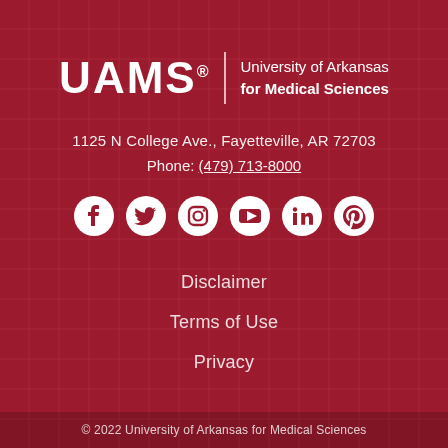[Figure (logo): UAMS logo with text: University of Arkansas for Medical Sciences]
1125 N College Ave., Fayetteville, AR 72703
Phone: (479) 713-8000
[Figure (infographic): Social media icons: Facebook, Twitter, Instagram, YouTube, LinkedIn, Pinterest]
Disclaimer
Terms of Use
Privacy
© 2022 University of Arkansas for Medical Sciences